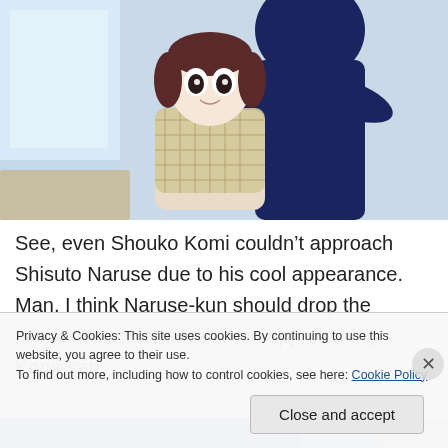[Figure (illustration): Anime screenshot showing two characters: a girl with short brown hair wearing a plaid scarf being approached by a taller figure in a dark blue jacket, set in what appears to be a school interior with light blue walls and windows.]
See, even Shouko Komi couldn’t approach Shisuto Naruse due to his cool appearance. Man, I think Naruse-kun should drop the narcissist act for once when approaching Komi-san.
[Figure (illustration): Partial anime screenshot showing characters in blue clothing, partially obscured by a cookie consent banner.]
Privacy & Cookies: This site uses cookies. By continuing to use this website, you agree to their use.
To find out more, including how to control cookies, see here: Cookie Policy
Close and accept